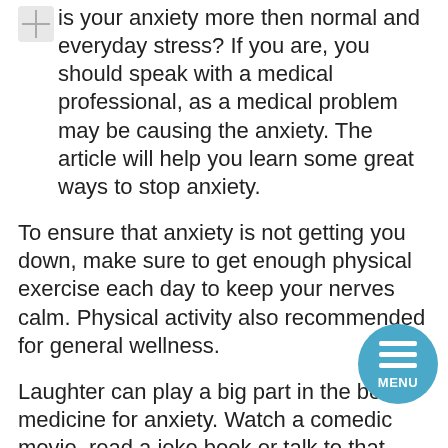Is your anxiety more then normal and everyday stress? If you are, you should speak with a medical professional, as a medical problem may be causing the anxiety. The article will help you learn some great ways to stop anxiety.
To ensure that anxiety is not getting you down, make sure to get enough physical exercise each day to keep your nerves calm. Physical activity also recommended for general wellness.
Laughter can play a big part in the best medicine for anxiety. Watch a comedic movie, read a joke book or talk to that friend with the great sense of humor when you want to lighten your mood.
Find a person that you trust. You can talk about anxiety with this person. Don't keep your feelings bottled up inside; it can make a big difference to be